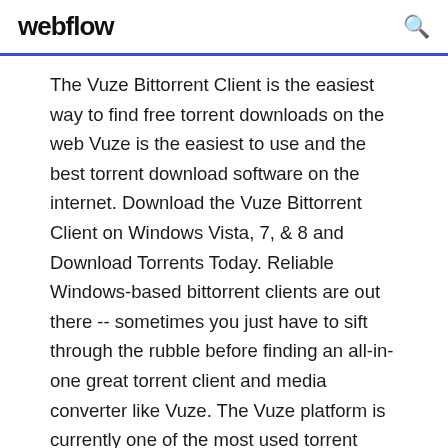webflow
The Vuze Bittorrent Client is the easiest way to find free torrent downloads on the web Vuze is the easiest to use and the best torrent download software on the internet. Download the Vuze Bittorrent Client on Windows Vista, 7, & 8 and Download Torrents Today. Reliable Windows-based bittorrent clients are out there -- sometimes you just have to sift through the rubble before finding an all-in-one great torrent client and media converter like Vuze. The Vuze platform is currently one of the most used torrent Why most of your torrents are queued and not downloading []. Vuze has a queue system which constantly re-orders the running